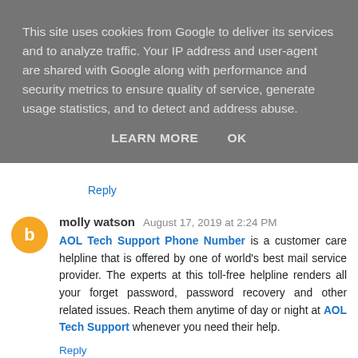This site uses cookies from Google to deliver its services and to analyze traffic. Your IP address and user-agent are shared with Google along with performance and security metrics to ensure quality of service, generate usage statistics, and to detect and address abuse.
LEARN MORE   OK
Reply
molly watson  August 17, 2019 at 2:24 PM
AOL Tech Support Phone Number is a customer care helpline that is offered by one of world's best mail service provider. The experts at this toll-free helpline renders all your forget password, password recovery and other related issues. Reach them anytime of day or night at AOL Tech Support whenever you need their help.
Reply